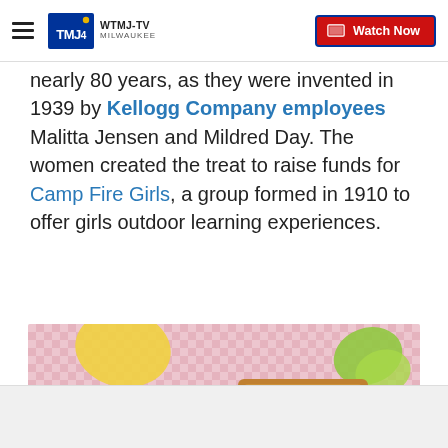WTMJ-TV MILWAUKEE | Watch Now
nearly 80 years, as they were invented in 1939 by Kellogg Company employees Malitta Jensen and Mildred Day. The women created the treat to raise funds for Camp Fire Girls, a group formed in 1910 to offer girls outdoor learning experiences.
[Figure (photo): Close-up photo of Rice Krispie treat squares stacked on a green and white plate with a pink checkered background.]